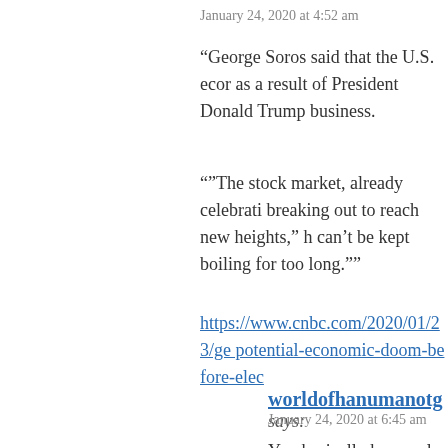January 24, 2020 at 4:52 am
“George Soros said that the U.S. econ as a result of President Donald Trump business.
“”The stock market, already celebrati breaking out to reach new heights,” h can’t be kept boiling for too long.””
https://www.cnbc.com/2020/01/23/ge potential-economic-doom-before-elec
worldofhanumanotg says:
January 24, 2020 at 6:45 am
You basically have only ~10 pub opinion in fly over swing equal to massive depression